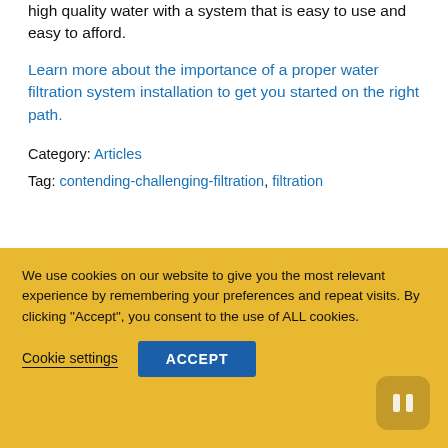high quality water with a system that is easy to use and easy to afford.
Learn more about the importance of a proper water filtration system installation to get you started on the right path.
Category: Articles
Tag: contending-challenging-filtration, filtration
[Figure (screenshot): Card with teal/blue image of lamp and title 'Antunes Flatbread Toaster']
We use cookies on our website to give you the most relevant experience by remembering your preferences and repeat visits. By clicking “Accept”, you consent to the use of ALL cookies.
Cookie settings
ACCEPT